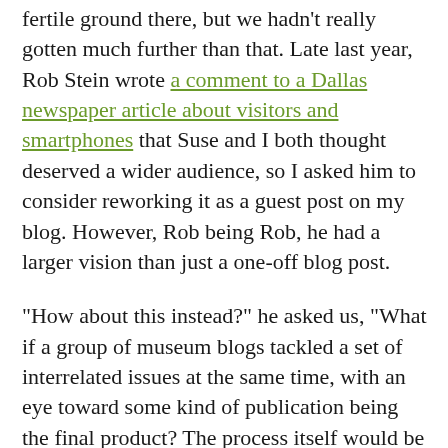fertile ground there, but we hadn't really gotten much further than that. Late last year, Rob Stein wrote a comment to a Dallas newspaper article about visitors and smartphones that Suse and I both thought deserved a wider audience, so I asked him to consider reworking it as a guest post on my blog. However, Rob being Rob, he had a larger vision than just a one-off blog post.
“How about this instead?” he asked us, “What if a group of museum blogs tackled a set of interrelated issues at the same time, with an eye toward some kind of publication being the final product? The process itself would be an interesting experiment, and the outcome – some hopefully substantial discourse and new